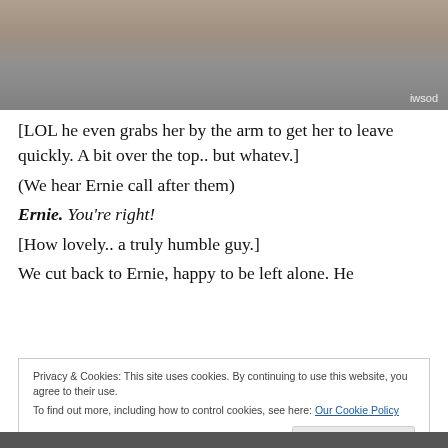[Figure (screenshot): A screenshot of a TV scene showing people standing near a desk/counter area, with 'iwsod' watermark in the bottom right corner.]
[LOL he even grabs her by the arm to get her to leave quickly. A bit over the top.. but whatev.] (We hear Ernie call after them)
Ernie. You're right!
[How lovely.. a truly humble guy.]
We cut back to Ernie, happy to be left alone. He
Privacy & Cookies: This site uses cookies. By continuing to use this website, you agree to their use.
To find out more, including how to control cookies, see here: Our Cookie Policy
Close and accept
[Figure (screenshot): Bottom portion of another TV scene screenshot, partially visible.]